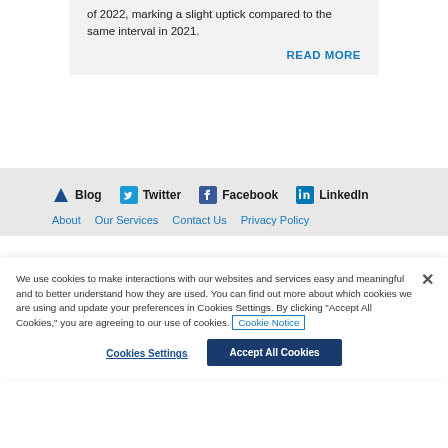of 2022, marking a slight uptick compared to the same interval in 2021.
READ MORE
Blog  Twitter  Facebook  LinkedIn
About  Our Services  Contact Us  Privacy Policy
We use cookies to make interactions with our websites and services easy and meaningful and to better understand how they are used. You can find out more about which cookies we are using and update your preferences in Cookies Settings. By clicking "Accept All Cookies," you are agreeing to our use of cookies. Cookie Notice
Cookies Settings
Accept All Cookies